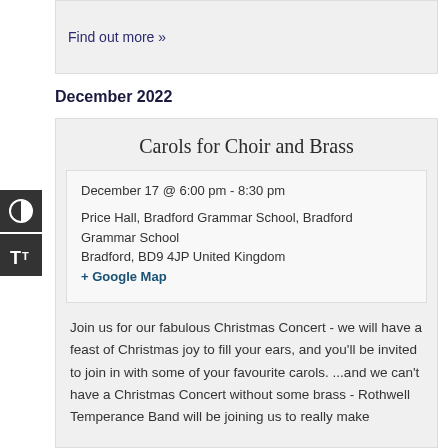Find out more »
December 2022
Carols for Choir and Brass
December 17 @ 6:00 pm - 8:30 pm
Price Hall, Bradford Grammar School, Bradford Grammar School
Bradford, BD9 4JP United Kingdom
+ Google Map
Join us for our fabulous Christmas Concert - we will have a feast of Christmas joy to fill your ears, and you'll be invited to join in with some of your favourite carols. ...and we can't have a Christmas Concert without some brass - Rothwell Temperance Band will be joining us to really make it feel like Christmas!